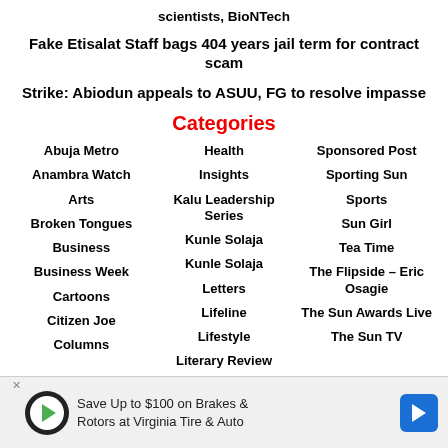scientists, BioNTech
Fake Etisalat Staff bags 404 years jail term for contract scam
Strike: Abiodun appeals to ASUU, FG to resolve impasse
Categories
Abuja Metro
Anambra Watch
Arts
Broken Tongues
Business
Business Week
Cartoons
Citizen Joe
Columns
Health
Insights
Kalu Leadership Series
Kunle Solaja
Kunle Solaja
Letters
Lifeline
Lifestyle
Literary Review
Sponsored Post
Sporting Sun
Sports
Sun Girl
Tea Time
The Flipside – Eric Osagie
The Sun Awards Live
The Sun TV
[Figure (other): Advertisement banner: Save Up to $100 on Brakes & Rotors at Virginia Tire & Auto]